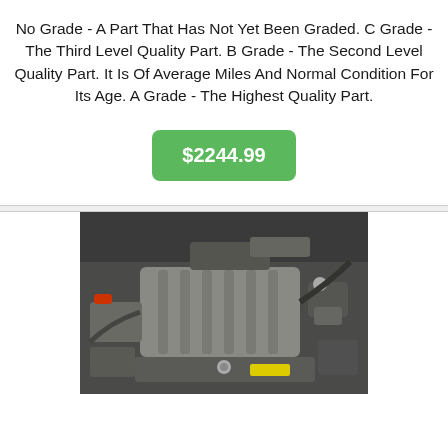No Grade - A Part That Has Not Yet Been Graded. C Grade - The Third Level Quality Part. B Grade - The Second Level Quality Part. It Is Of Average Miles And Normal Condition For Its Age. A Grade - The Highest Quality Part.
$2244.99
[Figure (photo): Photo of a car engine compartment showing the engine block with plastic cover, various components and hoses, against a dark background.]